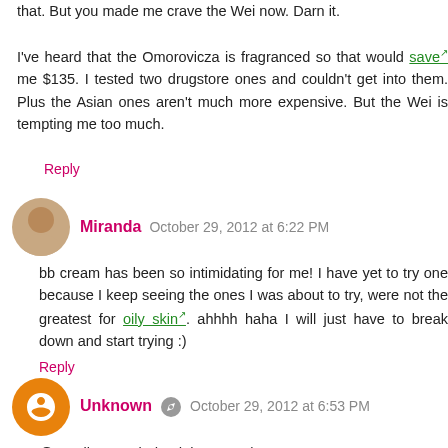that. But you made me crave the Wei now. Darn it.

I've heard that the Omorovicza is fragranced so that would save me $135. I tested two drugstore ones and couldn't get into them. Plus the Asian ones aren't much more expensive. But the Wei is tempting me too much.
Reply
Miranda  October 29, 2012 at 6:22 PM
bb cream has been so intimidating for me! I have yet to try one because I keep seeing the ones I was about to try, were not the greatest for oily skin. ahhhh haha I will just have to break down and start trying :)
Reply
Unknown  October 29, 2012 at 6:53 PM
@Jessika-Yes, indeed they are! :)

@Marcia-I am going to sound like such an enabler: You